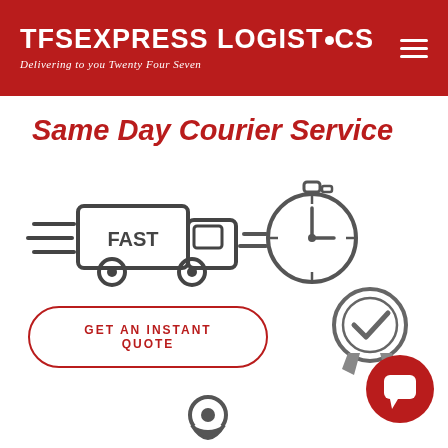TFS EXPRESS LOGISTICS — Delivering to you Twenty Four Seven
Same Day Courier Service
[Figure (illustration): Icon of a fast delivery truck with speed lines on the left, and a fast stopwatch/clock with speed lines on the right]
[Figure (illustration): GET AN INSTANT QUOTE button with rounded border in red]
[Figure (illustration): Award/badge icon with checkmark, overlapping red circle with chat bubble icon (bottom right)]
[Figure (illustration): Map location pin icon at the bottom center]